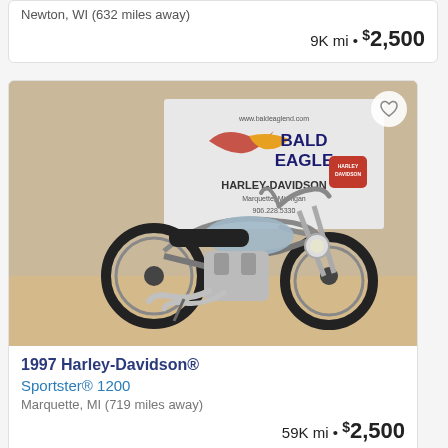Newton, WI (632 miles away)
9K mi • $2,500
[Figure (photo): 1997 Harley-Davidson Sportster 1200 motorcycle parked indoors in front of a Bald Eagle Harley-Davidson dealership banner sign. The motorcycle is chrome and black. A heart/favorite button is visible in the top-right corner of the image.]
1997 Harley-Davidson®
Sportster® 1200
Marquette, MI (719 miles away)
59K mi • $2,500